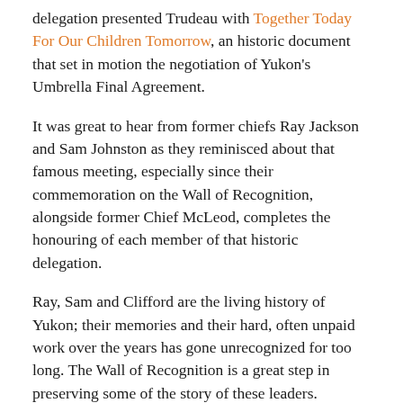delegation presented Trudeau with Together Today For Our Children Tomorrow, an historic document that set in motion the negotiation of Yukon's Umbrella Final Agreement.
It was great to hear from former chiefs Ray Jackson and Sam Johnston as they reminisced about that famous meeting, especially since their commemoration on the Wall of Recognition, alongside former Chief McLeod, completes the honouring of each member of that historic delegation.
Ray, Sam and Clifford are the living history of Yukon; their memories and their hard, often unpaid work over the years has gone unrecognized for too long. The Wall of Recognition is a great step in preserving some of the story of these leaders.
Several members of Yukon First Nations legal teams, past and present, were also honoured. CYFN's legal counselor Daryn Leas, a "next generation" Yukon First Nation citizen